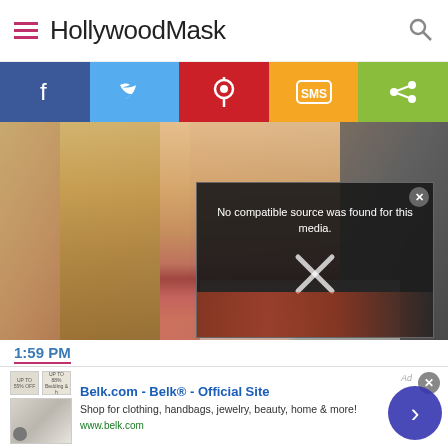HollywoodMask
[Figure (screenshot): Social sharing bar with Facebook, Twitter, Pinterest, SMS, and Share buttons]
[Figure (photo): Close-up photo of a woman with blonde hair and red lips, with an overlaid video player showing 'No compatible source was found for this media.' error and an X close button]
1:59 PM
[Figure (screenshot): Advertisement for Belk.com - Belk Official Site. Shop for clothing, handbags, jewelry, beauty, home & more! www.belk.com]